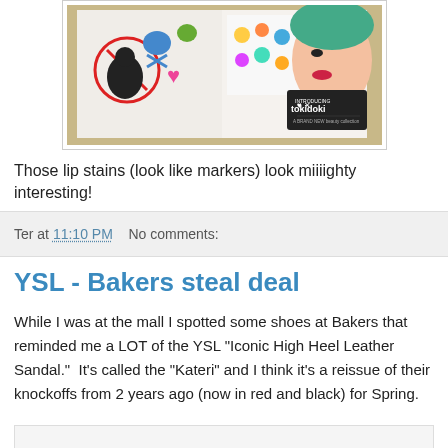[Figure (photo): Magazine spread showing tokidoki beauty collection with cartoon characters and a woman's face, placed on a surface]
Those lip stains (look like markers) look miiiighty interesting!
Ter at 11:10 PM    No comments:
YSL - Bakers steal deal
While I was at the mall I spotted some shoes at Bakers that reminded me a LOT of the YSL "Iconic High Heel Leather Sandal."  It's called the "Kateri" and I think it's a reissue of their knockoffs from 2 years ago (now in red and black) for Spring.